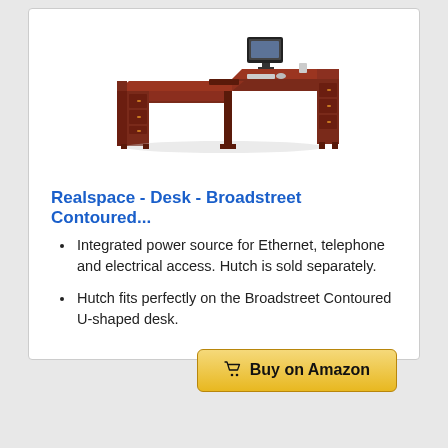[Figure (photo): Product photo of a mahogany L-shaped / U-shaped executive desk (Realspace Broadstreet Contoured) with a monitor and accessories on top]
Realspace - Desk - Broadstreet Contoured...
Integrated power source for Ethernet, telephone and electrical access. Hutch is sold separately.
Hutch fits perfectly on the Broadstreet Contoured U-shaped desk.